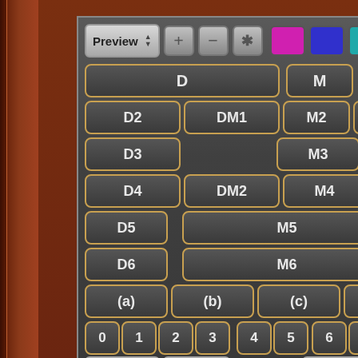[Figure (screenshot): Software interface panel showing a grid of labeled buttons: Preview toolbar at top with +, -, * icons and color swatches (pink, blue, teal). Button rows: D, M; D2, DM1, M2, LM; D3, M3; D4, DM2, M4; D5, M5; D6, M6; (a), (b), (c), (; 0,1,2,3,4,5,6,7; Vibr, Sat, Diff]